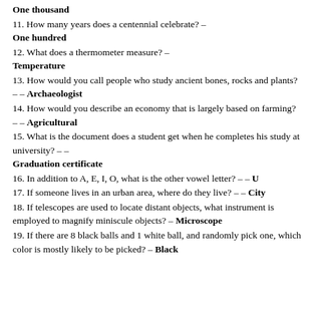One thousand
11. How many years does a centennial celebrate? – One hundred
12. What does a thermometer measure? – Temperature
13. How would you call people who study ancient bones, rocks and plants? – – Archaeologist
14. How would you describe an economy that is largely based on farming? – – Agricultural
15. What is the document does a student get when he completes his study at university? – – Graduation certificate
16. In addition to A, E, I, O, what is the other vowel letter? – – U
17. If someone lives in an urban area, where do they live? – – City
18. If telescopes are used to locate distant objects, what instrument is employed to magnify miniscule objects? – Microscope
19. If there are 8 black balls and 1 white ball, and randomly pick one, which color is mostly likely to be picked? – Black